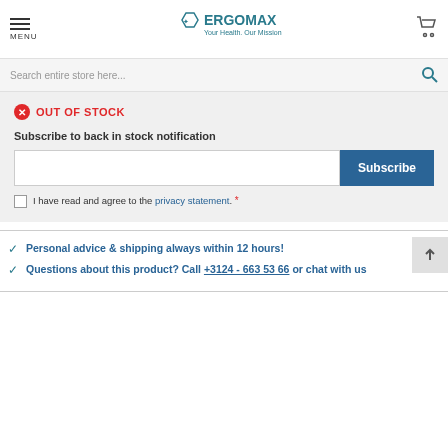MENU | ERGOMAX Your Health. Our Mission.
Search entire store here...
OUT OF STOCK
Subscribe to back in stock notification
Subscribe
I have read and agree to the privacy statement. *
Personal advice & shipping always within 12 hours!
Questions about this product? Call +3124 - 663 53 66 or chat with us